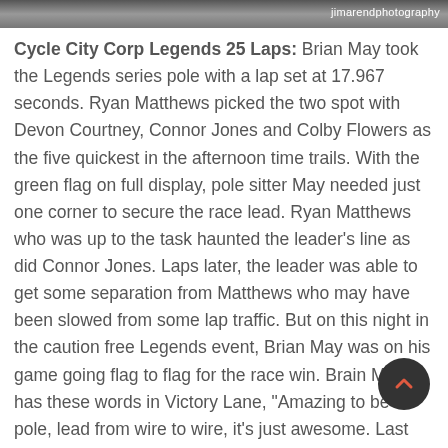[Figure (photo): Partial photo strip at the top of the page with a watermark reading 'jimarendphotography' in the top right corner.]
Cycle City Corp Legends 25 Laps: Brian May took the Legends series pole with a lap set at 17.967 seconds. Ryan Matthews picked the two spot with Devon Courtney, Connor Jones and Colby Flowers as the five quickest in the afternoon time trails. With the green flag on full display, pole sitter May needed just one corner to secure the race lead. Ryan Matthews who was up to the task haunted the leader's line as did Connor Jones. Laps later, the leader was able to get some separation from Matthews who may have been slowed from some lap traffic. But on this night in the caution free Legends event, Brian May was on his game going flag to flag for the race win. Brain May has these words in Victory Lane, "Amazing to be on pole, lead from wire to wire, it's just awesome. Last race we won we went wire to wire so just got to put it on pole and lead them all. Two weeks ago this race we had a car on the side of the...